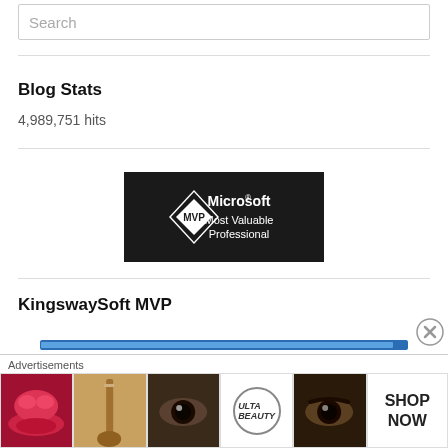Search
Blog Stats
4,989,751 hits
[Figure (logo): Microsoft MVP (Most Valuable Professional) logo — black background with white diamond shape containing 'MVP' text and 'Microsoft® Most Valuable Professional' text]
KingswaySoft MVP
[Figure (screenshot): Partial screenshot of a webpage element with blue border bar]
Advertisements
[Figure (photo): Advertisement banner showing beauty/makeup images: lips, brush, eye, ULTA logo, eyebrow, and SHOP NOW text]